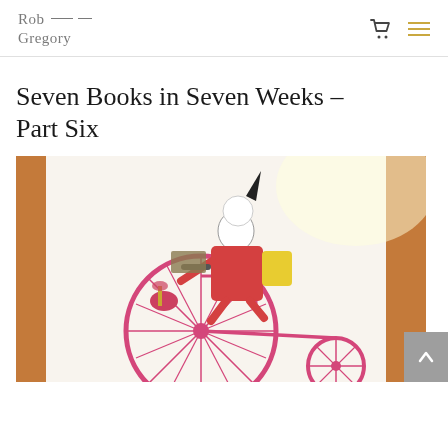Rob Gregory
Seven Books in Seven Weeks – Part Six
[Figure (photo): A book cover showing a vintage illustration of a skeleton or clown figure dressed in red, riding a large penny-farthing bicycle with pink/red wheels, accompanied by various whimsical accessories including a lamp, against a white background. The book is photographed on a wooden surface.]